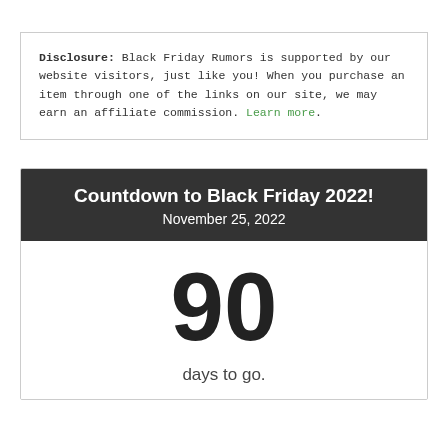Disclosure: Black Friday Rumors is supported by our website visitors, just like you! When you purchase an item through one of the links on our site, we may earn an affiliate commission. Learn more.
Countdown to Black Friday 2022!
November 25, 2022
90
days to go.